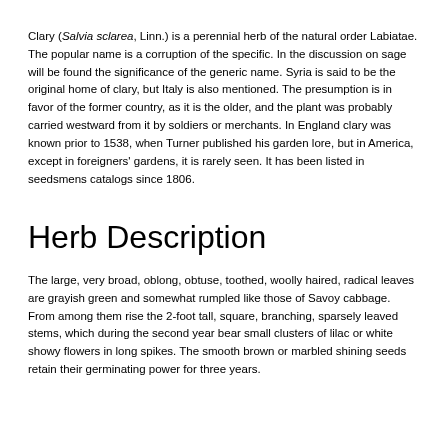Clary (Salvia sclarea, Linn.) is a perennial herb of the natural order Labiatae. The popular name is a corruption of the specific. In the discussion on sage will be found the significance of the generic name. Syria is said to be the original home of clary, but Italy is also mentioned. The presumption is in favor of the former country, as it is the older, and the plant was probably carried westward from it by soldiers or merchants. In England clary was known prior to 1538, when Turner published his garden lore, but in America, except in foreigners' gardens, it is rarely seen. It has been listed in seedsmens catalogs since 1806.
Herb Description
The large, very broad, oblong, obtuse, toothed, woolly haired, radical leaves are grayish green and somewhat rumpled like those of Savoy cabbage. From among them rise the 2-foot tall, square, branching, sparsely leaved stems, which during the second year bear small clusters of lilac or white showy flowers in long spikes. The smooth brown or marbled shining seeds retain their germinating power for three years.